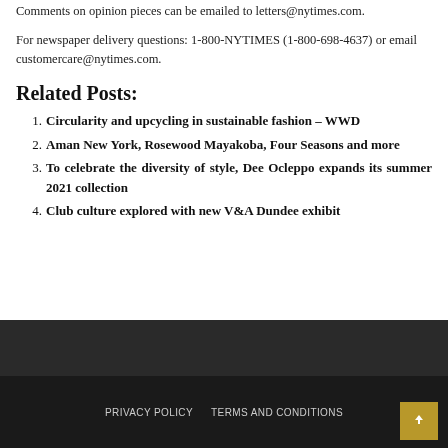Comments on opinion pieces can be emailed to letters@nytimes.com.
For newspaper delivery questions: 1-800-NYTIMES (1-800-698-4637) or email customercare@nytimes.com.
Related Posts:
Circularity and upcycling in sustainable fashion – WWD
Aman New York, Rosewood Mayakoba, Four Seasons and more
To celebrate the diversity of style, Dee Ocleppo expands its summer 2021 collection
Club culture explored with new V&A Dundee exhibit
PRIVACY POLICY   TERMS AND CONDITIONS